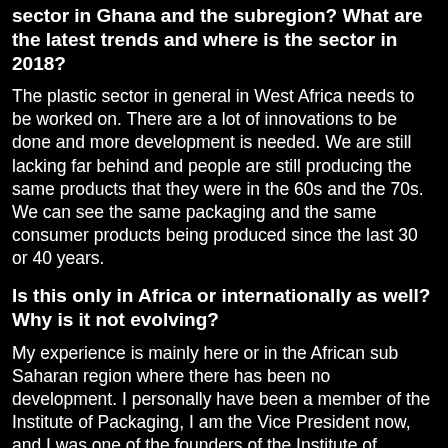sector in Ghana and the subregion? What are the latest trends and where is the sector in 2018?
The plastic sector in general in West Africa needs to be worked on. There are a lot of innovations to be done and more development is needed. We are still lacking far behind and people are still producing the same products that they were in the 60s and the 70s. We can see the same packaging and the same consumer products being produced since the last 30 or 40 years.
Is this only in Africa or internationally as well? Why is it not evolving?
My experience is mainly here or in the African sub Saharan region where there has been no development. I personally have been a member of the Institute of Packaging, I am the Vice President now, and I was one of the founders of the Institute of Packaging in Ghana. There